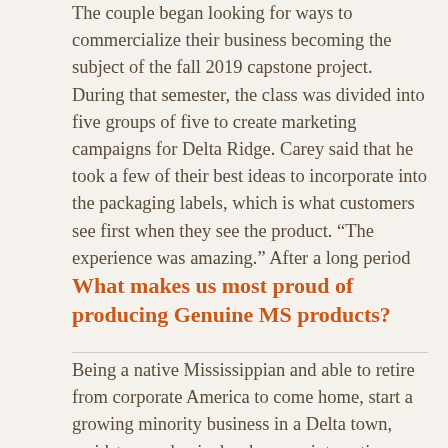The couple began looking for ways to commercialize their business becoming the subject of the fall 2019 capstone project. During that semester, the class was divided into five groups of five to create marketing campaigns for Delta Ridge. Carey said that he took a few of their best ideas to incorporate into the packaging labels, which is what customers see first when they see the product. “The experience was amazing.” After a long period of package adjustment making sure everything was just right, the spices were finally ready to be pushed for distribution. “I never would have thought it would go so fast.”
What makes us most proud of producing Genuine MS products?
Being a native Mississippian and able to retire from corporate America to come home, start a growing minority business in a Delta town, amidst a pandemic, has been an interesting journey for both me and my wife. We are proud of the growth but more we are